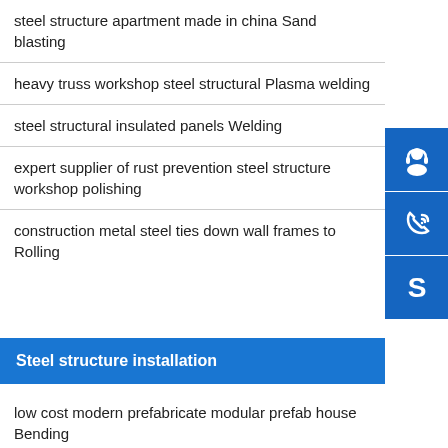steel structure apartment made in china Sand blasting
heavy truss workshop steel structural Plasma welding
steel structural insulated panels Welding
expert supplier of rust prevention steel structure workshop polishing
construction metal steel ties down wall frames to Rolling
[Figure (infographic): Three blue icon buttons: headset/customer service icon, phone with signal icon, and Skype logo icon]
Steel structure installation
low cost modern prefabricate modular prefab house Bending